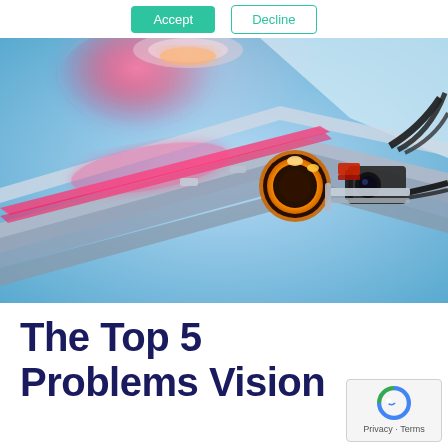[Figure (other): Two buttons: a green 'Accept' button and a teal-outlined 'Decline' button on a white background at the top of the page.]
[Figure (photo): Close-up photo of an industrial machine vision system on a conveyor line, featuring a ring light illuminated in orange/amber, a red laser/light beam, a small black camera, and metallic rail components, all bathed in blue ambient light.]
The Top 5 Problems Vision